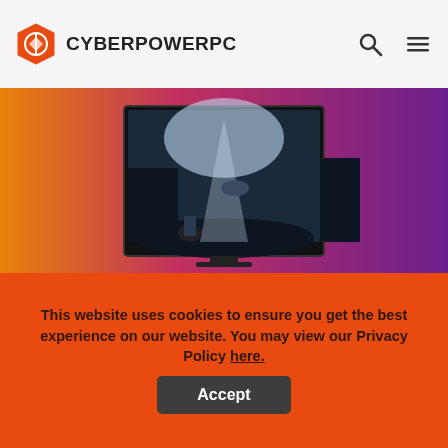CyberPowerPC
[Figure (screenshot): CyberPowerPC website hero banner with gradient background (orange to purple) and a gaming monitor displaying a dark fantasy game scene]
This website uses cookies to ensure you get the best experience on our website. You may view our Privacy Policy here.
Accept